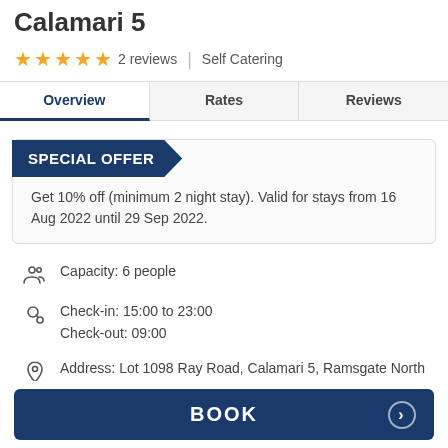Calamari 5
★★★★★ 2 reviews | Self Catering
Overview | Rates | Reviews
SPECIAL OFFER
Get 10% off (minimum 2 night stay). Valid for stays from 16 Aug 2022 until 29 Sep 2022.
Capacity: 6 people
Check-in: 15:00 to 23:00
Check-out: 09:00
Address: Lot 1098 Ray Road, Calamari 5, Ramsgate North
BOOK